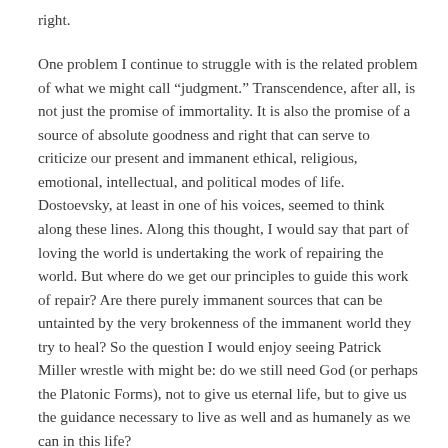right.
One problem I continue to struggle with is the related problem of what we might call “judgment.” Transcendence, after all, is not just the promise of immortality. It is also the promise of a source of absolute goodness and right that can serve to criticize our present and immanent ethical, religious, emotional, intellectual, and political modes of life. Dostoevsky, at least in one of his voices, seemed to think along these lines. Along this thought, I would say that part of loving the world is undertaking the work of repairing the world. But where do we get our principles to guide this work of repair? Are there purely immanent sources that can be untainted by the very brokenness of the immanent world they try to heal? So the question I would enjoy seeing Patrick Miller wrestle with might be: do we still need God (or perhaps the Platonic Forms), not to give us eternal life, but to give us the guidance necessary to live as well and as humanely as we can in this life?